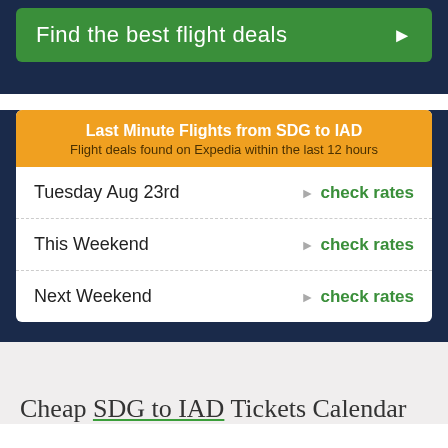[Figure (screenshot): Green 'Find the best flight deals' button with arrow on dark navy background]
Last Minute Flights from SDG to IAD
Flight deals found on Expedia within the last 12 hours
Tuesday Aug 23rd — check rates
This Weekend — check rates
Next Weekend — check rates
Cheap SDG to IAD Tickets Calendar